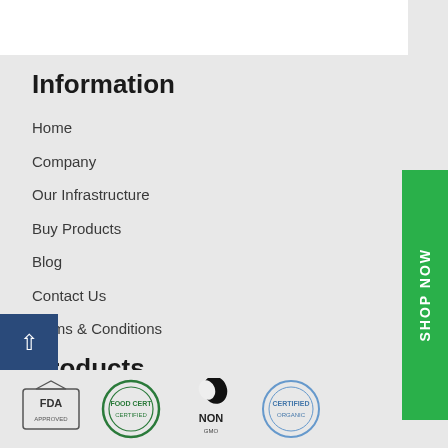Information
Home
Company
Our Infrastructure
Buy Products
Blog
Contact Us
Terms & Conditions
Products
Natural Sugar Free Extracts
Approved By
[Figure (logo): FDA approval logo]
[Figure (logo): Green certification badge]
[Figure (logo): NON certification logo with leaf icon]
[Figure (logo): Certified badge (blue circular)]